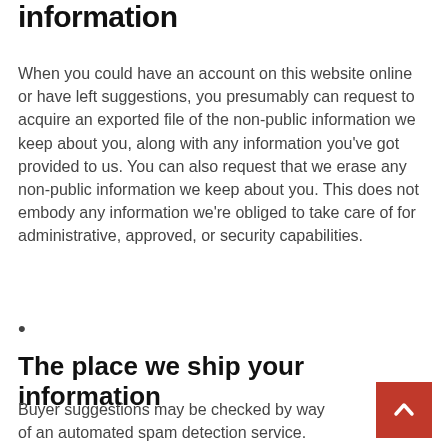information
When you could have an account on this website online or have left suggestions, you presumably can request to acquire an exported file of the non-public information we keep about you, along with any information you've got provided to us. You can also request that we erase any non-public information we keep about you. This does not embody any information we're obliged to take care of for administrative, approved, or security capabilities.
The place we ship your information
Buyer suggestions may be checked by way of an automated spam detection service.